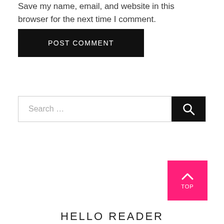Save my name, email, and website in this browser for the next time I comment.
[Figure (other): POST COMMENT button — black rectangle with white uppercase text]
[Figure (other): Search bar with text 'Search ...' and a black search icon button on the right]
[Figure (other): Pink TOP button with upward chevron arrow and 'TOP' label]
HELLO READER